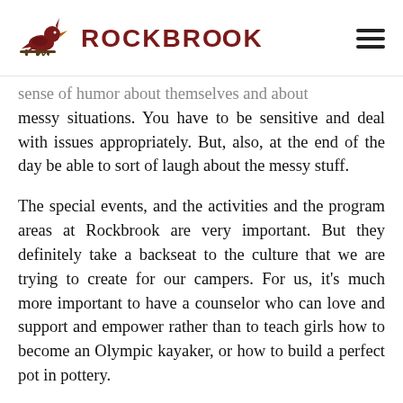ROCKBROOK
sense of humor about themselves and about messy situations. You have to be sensitive and deal with issues appropriately. But, also, at the end of the day be able to sort of laugh about the messy stuff.
The special events, and the activities and the program areas at Rockbrook are very important. But they definitely take a backseat to the culture that we are trying to create for our campers. For us, it’s much more important to have a counselor who can love and support and empower rather than to teach girls how to become an Olympic kayaker, or how to build a perfect pot in pottery.